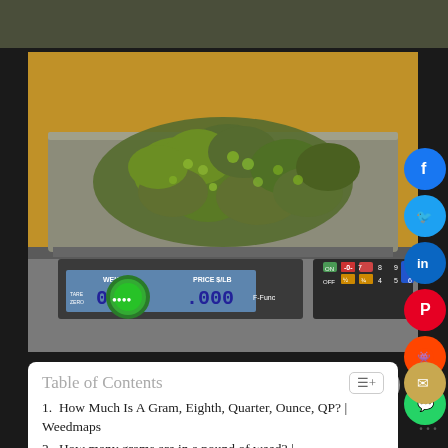[Figure (photo): Cannabis buds piled on a digital weighing scale showing 0.14 weight and 0.00 price display, on a wooden surface background]
Table of Contents
1. How Much Is A Gram, Eighth, Quarter, Ounce, QP? | Weedmaps
2. How many grams are in a pound of weed? | Weedmaps